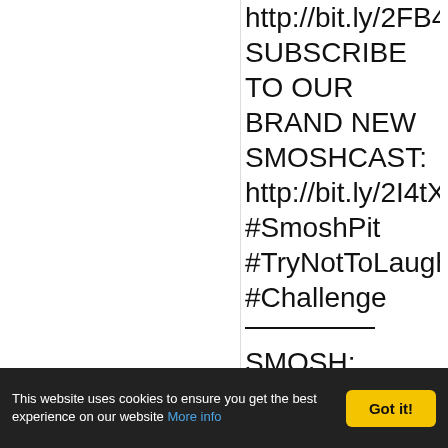http://bit.ly/2FB4N5P SUBSCRIBE TO OUR BRAND NEW SMOSHCAST: http://bit.ly/2I4tXwJ #SmoshPit #TryNotToLaugh #Challenge
___________
SMOSH: http://youtube.com/smosh Smosh Games: http://youtube.com/smoshgames Shut Up! Cartoons: http://youtube.com/shut
This website uses cookies to ensure you get the best experience on our website More info